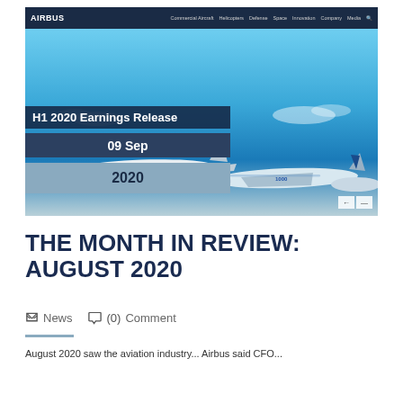[Figure (screenshot): Screenshot of Airbus website showing a hero banner with two aircraft flying against a blue sky. The banner displays 'H1 2020 Earnings Release' as the title, '09 Sep' as the date, and '2020' as the year. The dark navy navigation bar at the top shows 'AIRBUS' logo and nav links: Commercial Aircraft, Helicopters, Defense, Space, Innovation, Company, Media.]
THE MONTH IN REVIEW: AUGUST 2020
News  (0) Comment
August 2020 saw the aviation industry...